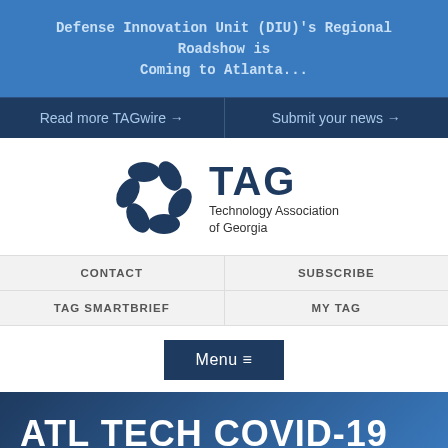Defense Innovation Unit (DIU)'s Regional Roadshow is Coming to Atlanta...
Read more TAGwire → | Submit your news →
[Figure (logo): TAG Technology Association of Georgia logo with pinwheel graphic and text]
CONTACT
SUBSCRIBE
TAG SMARTBRIEF
MY TAG
Menu ≡
ATL TECH COVID-19